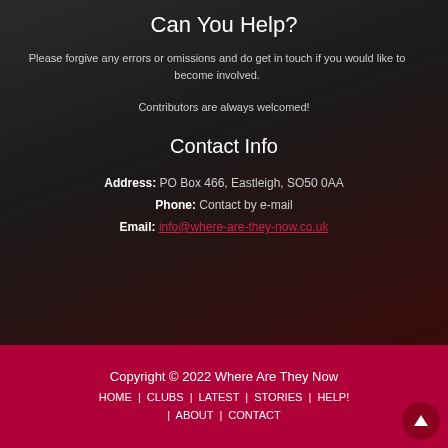Can You Help?
Please forgive any errors or omissions and do get in touch if you would like to become involved.
Contributors are always welcomed!
Contact Info
Address: PO Box 466, Eastleigh, SO50 0AA
Phone: Contact by e-mail
Email: info@where-are-they-now.co.uk
Copyright © 2022 Where Are They Now
HOME | CLUBS | LATEST | STORIES | HELP! | ABOUT | CONTACT